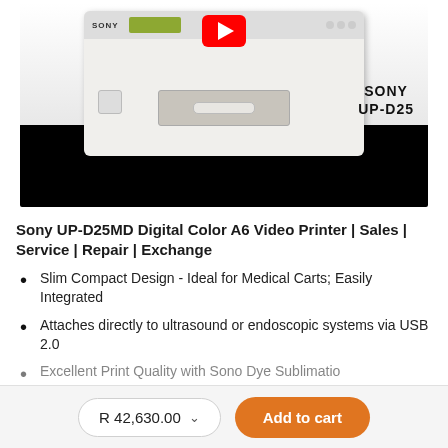[Figure (photo): Sony UP-D25 Digital Color A6 Video Printer product photo with YouTube play button overlay, showing white printer unit with LCD display and paper slot, with 'SONY UP-D25' text label on the right side]
Sony UP-D25MD Digital Color A6 Video Printer | Sales | Service | Repair | Exchange
Slim Compact Design - Ideal for Medical Carts; Easily Integrated
Attaches directly to ultrasound or endoscopic systems via USB 2.0
Excellent Print Quality with Sono Dye Sublimation...
R 42,630.00
Add to cart